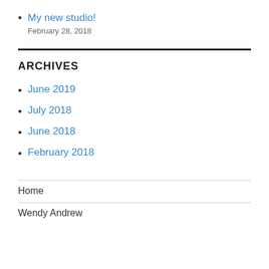My new studio! February 28, 2018
ARCHIVES
June 2019
July 2018
June 2018
February 2018
Home
Wendy Andrew